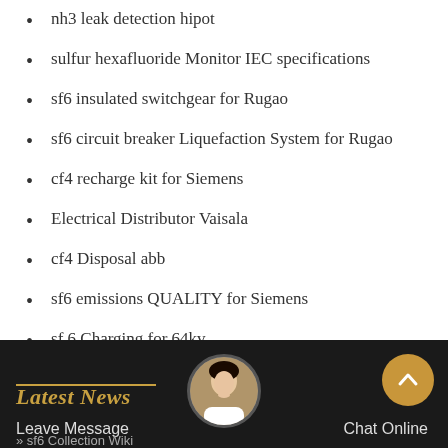nh3 leak detection hipot
sulfur hexafluoride Monitor IEC specifications
sf6 insulated switchgear for Rugao
sf6 circuit breaker Liquefaction System for Rugao
cf4 recharge kit for Siemens
Electrical Distributor Vaisala
cf4 Disposal abb
sf6 emissions QUALITY for Siemens
sf 6 Charging for 64kv
SF6-alternatives fittings Schneider
Latest News   Leave Message   Chat Online   sf6 Collection Wiki